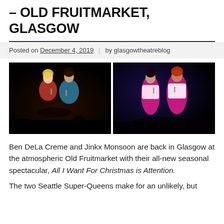– OLD FRUITMARKET, GLASGOW
Posted on December 4, 2019  |  by glasgowtheatreblog
[Figure (photo): Two performers on stage in colorful costumes, left photo: two women singing, one in red and one in blue sequined outfit, dark stage background.]
[Figure (photo): Two performers on stage in pink/magenta gowns with white fur stoles, dark blue stage background, right photo.]
Ben DeLa Creme and Jinkx Monsoon are back in Glasgow at the atmospheric Old Fruitmarket with their all-new seasonal spectacular, All I Want For Christmas is Attention.
The two Seattle Super-Queens make for an unlikely, but